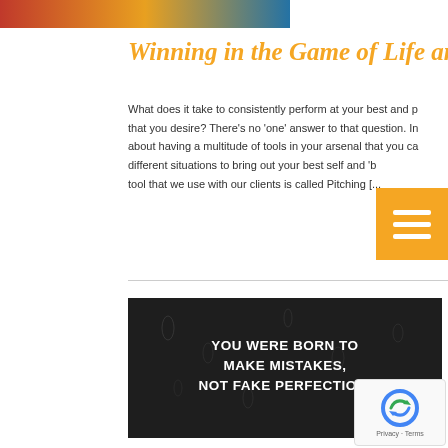[Figure (photo): Partial top image showing people, cropped at top of page]
Winning in the Game of Life and Business
What does it take to consistently perform at your best and p... that you desire? There's no 'one' answer to that question. In about having a multitude of tools in your arsenal that you ca... different situations to bring out your best self and 'b... tool that we use with our clients is called Pitching [...
[Figure (photo): Dark background image with water droplets and white text reading: YOU WERE BORN TO MAKE MISTAKES, NOT FAKE PERFECTION. – Drake]
Wake Up _ Mistakes